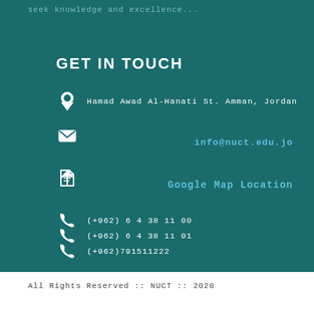seek knowledge and excellence...
GET IN TOUCH
Hamad Awad Al-Hanati St. Amman, Jordan
info@nuct.edu.jo
Google Map Location
(+962) 6 4 38 11 00
(+962) 6 4 38 11 01
(+962)791511222
All Rights Reserved :: NUCT :: 2020